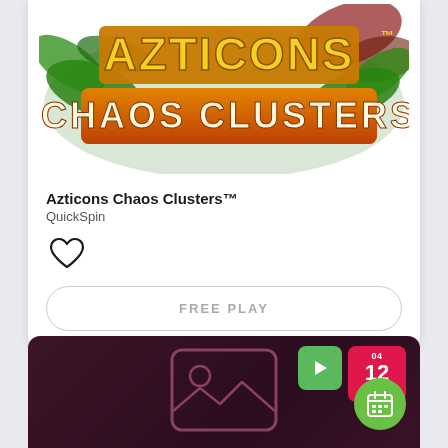[Figure (screenshot): Azticons Chaos Clusters game logo with gold letters on orange-brown stone tablets, surrounded by green tropical leaves]
Azticons Chaos Clusters™
QuickSpin
[Figure (illustration): Heart outline icon (unfilled/like button)]
FREE PLAY
[Figure (screenshot): Dark maroon/purple card with play button badge (green), date badge showing 04 / 12 / 2022 (red), image placeholder icon, and calendar icon (green circle)]